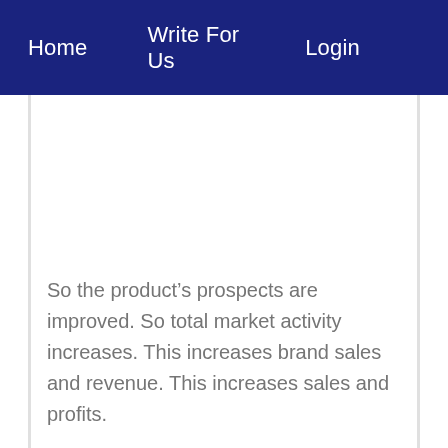Home   Write For Us   Login
So the product’s prospects are improved. So total market activity increases. This increases brand sales and revenue. This increases sales and profits.